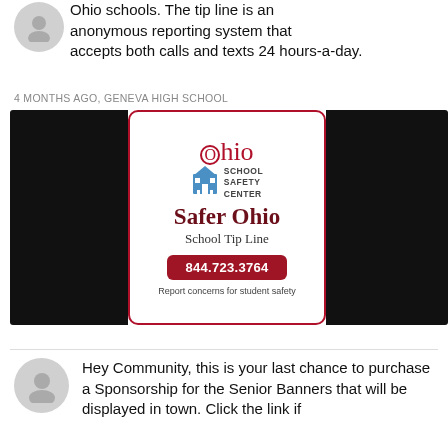Ohio schools. The tip line is an anonymous reporting system that accepts both calls and texts 24 hours-a-day.
4 MONTHS AGO, GENEVA HIGH SCHOOL
[Figure (infographic): Safer Ohio School Tip Line advertisement card showing Ohio School Safety Center logo and phone number 844.723.3764, flanked by black panels]
Hey Community, this is your last chance to purchase a Sponsorship for the Senior Banners that will be displayed in town. Click the link if